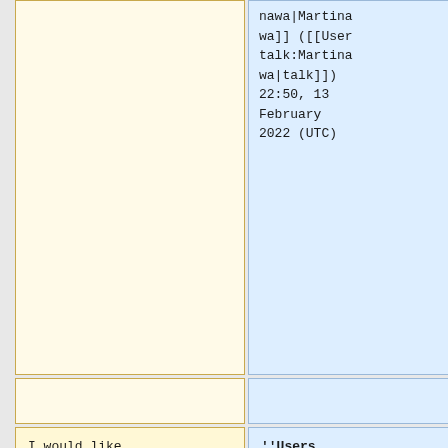nawa|Martinawa]] ([[User talk:Martinawa|talk]]) 22:50, 13 February 2022 (UTC)
I would like to volunteer in cleaning-up all of Galecia. – [[User:The Cute Chick|The Cute Chick]] ([[User talk:The Cute
'''Users currently authorised to edit in the country:'''